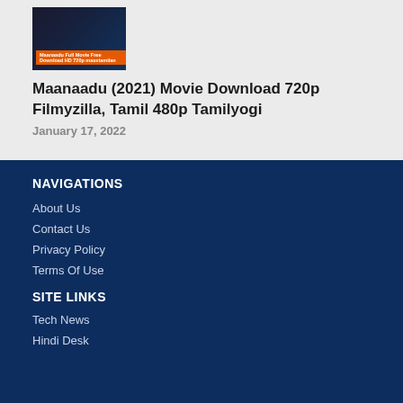[Figure (photo): Movie thumbnail/poster for Maanaadu (2021) showing a dark-toned image of a person with an orange banner overlay reading 'Maanaadu Full Movie Free Download HD 720p masstamilan']
Maanaadu (2021) Movie Download 720p Filmyzilla, Tamil 480p Tamilyogi
January 17, 2022
NAVIGATIONS
About Us
Contact Us
Privacy Policy
Terms Of Use
SITE LINKS
Tech News
Hindi Desk